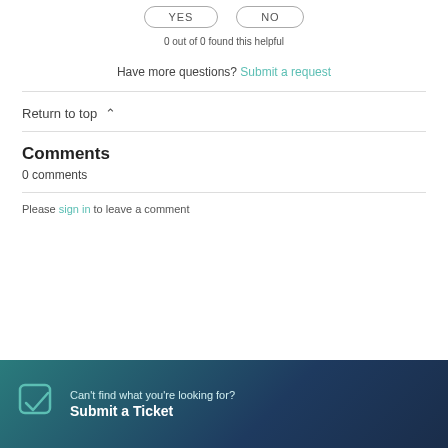[Figure (other): YES and NO vote buttons (pill-shaped outlines)]
0 out of 0 found this helpful
Have more questions? Submit a request
Return to top ∧
Comments
0 comments
Please sign in to leave a comment
Can't find what you're looking for? Submit a Ticket